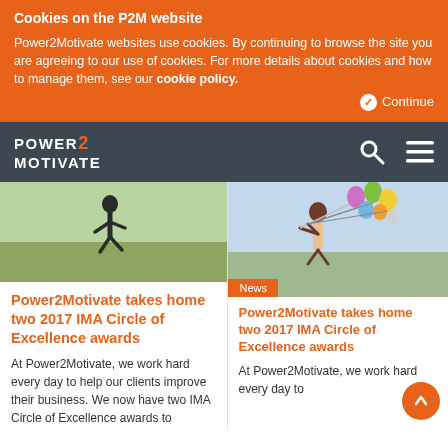Cookies on the P2M website
Power2Motivate websites use cookies. By continuing to browse the site you are agreeing to our use of cookies. For more details about cookies and how to manage them, see our cookie policy.
Continue
[Figure (screenshot): Power2Motivate website navigation bar with logo, search icon, and hamburger menu icon on dark background]
[Figure (photo): Person jumping in a field, grass background, left article card image]
Power2Motivate takes home two 2017 IMA Circle of Excellence awards
At Power2Motivate, we work hard every day to help our clients improve their business. We now have two IMA Circle of Excellence awards to
[Figure (photo): Person jumping holding colorful balloons in a field, right article card image]
News
Power2Motivate takes home two 2017 IMA Circle of Excellence awards
At Power2Motivate, we work hard every day to